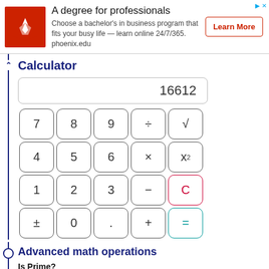[Figure (other): Advertisement banner for University of Phoenix: 'A degree for professionals' with logo, description text, and Learn More button]
Calculator
[Figure (other): Interactive calculator UI showing display with value 16612, numeric keypad with digits 0-9, operators ÷ × − + ±, special buttons √, x², C (clear, red border), = (teal border), and decimal point]
Advanced math operations
Is Prime?
The number 16612 is not a prime number. The closest